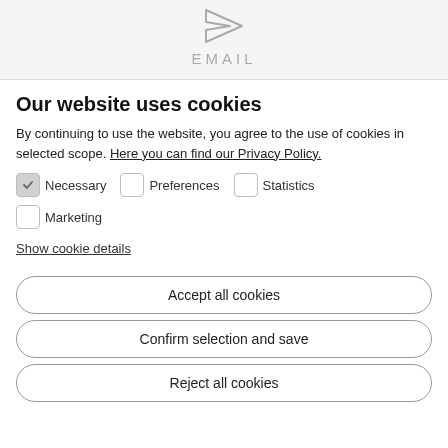[Figure (illustration): Top banner with a paper plane send icon and EMAIL label in grey on light grey background]
Our website uses cookies
By continuing to use the website, you agree to the use of cookies in selected scope. Here you can find our Privacy Policy.
Necessary  Preferences  Statistics  Marketing (checkboxes with Necessary checked, others unchecked)
Show cookie details
Accept all cookies
Confirm selection and save
Reject all cookies